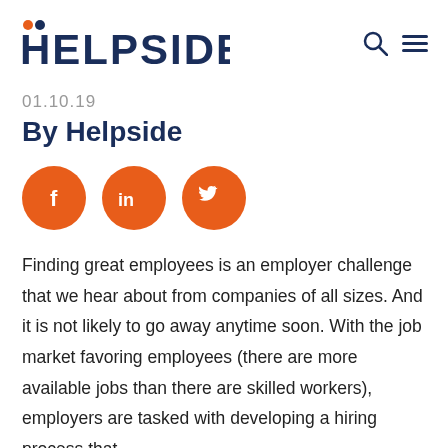HELPSIDE
01.10.19
By Helpside
[Figure (other): Three orange circular social media icons: Facebook (f), LinkedIn (in), Twitter (bird)]
Finding great employees is an employer challenge that we hear about from companies of all sizes. And it is not likely to go away anytime soon. With the job market favoring employees (there are more available jobs than there are skilled workers), employers are tasked with developing a hiring process that